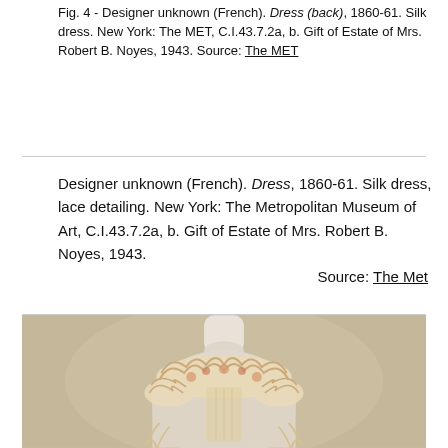Fig. 4 - Designer unknown (French). Dress (back), 1860-61. Silk dress. New York: The MET, C.I.43.7.2a, b. Gift of Estate of Mrs. Robert B. Noyes, 1943. Source: The MET
Designer unknown (French). Dress, 1860-61. Silk dress, lace detailing. New York: The Metropolitan Museum of Art, C.I.43.7.2a, b. Gift of Estate of Mrs. Robert B. Noyes, 1943. Source: The Met
[Figure (photo): Photograph of a cream/beige 1860-61 silk dress with lace detailing displayed on a white mannequin torso against a warm gray-beige background. The dress features a ruffled neckline with floral detailing and off-shoulder cap sleeves.]